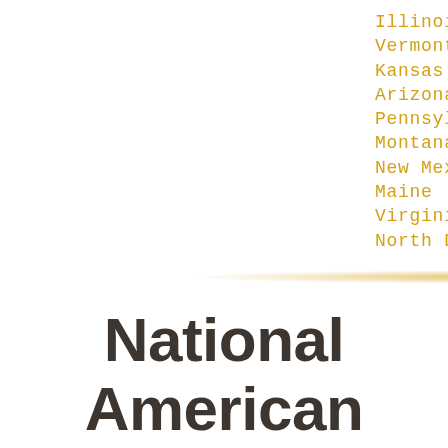Illinois
Vermont
Kansas
Arizona
Pennsylvania
Montana
New Mexico
Maine
Virginia
North Dakota
National American Long